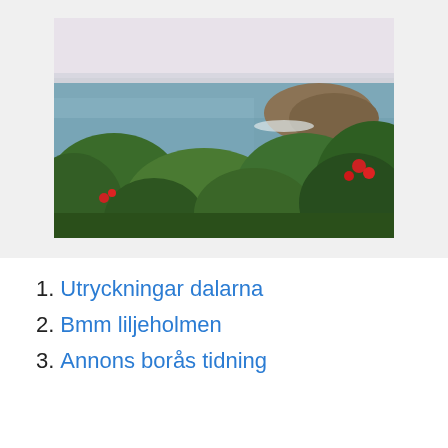[Figure (photo): Coastal landscape photograph showing green shrubs and flowering plants in the foreground, with the ocean and a rocky headland visible in the background under an overcast sky.]
1. Utryckningar dalarna
2. Bmm liljeholmen
3. Annons borås tidning